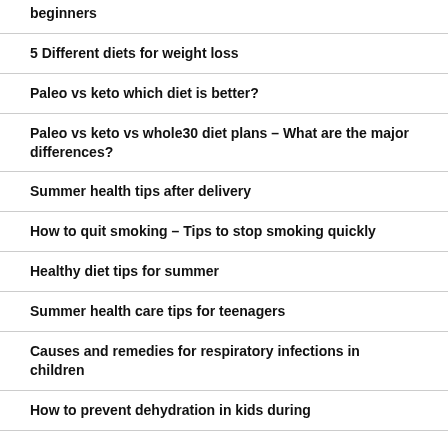beginners
5 Different diets for weight loss
Paleo vs keto which diet is better?
Paleo vs keto vs whole30 diet plans – What are the major differences?
Summer health tips after delivery
How to quit smoking – Tips to stop smoking quickly
Healthy diet tips for summer
Summer health care tips for teenagers
Causes and remedies for respiratory infections in children
How to prevent dehydration in kids during